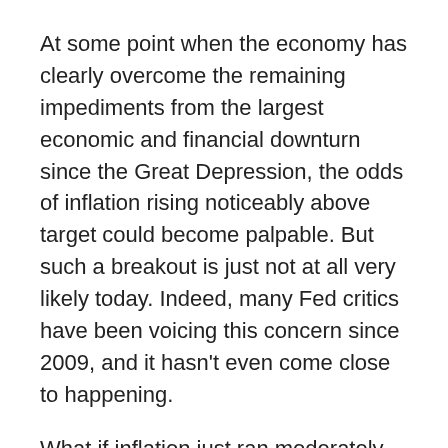At some point when the economy has clearly overcome the remaining impediments from the largest economic and financial downturn since the Great Depression, the odds of inflation rising noticeably above target could become palpable. But such a breakout is just not at all very likely today. Indeed, many Fed critics have been voicing this concern since 2009, and it hasn't even come close to happening.
What if inflation just ran moderately above target for some time? Well, I see the costs of this outcome as clearly being much smaller than the costs of falling back into the ZLB. First, I believe the U.S. economy could weather the modest increases in interest rates that would be needed to keep inflation in check. Such